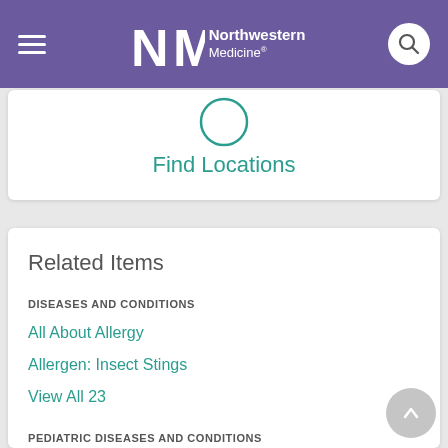Northwestern Medicine
Find Locations
Related Items
DISEASES AND CONDITIONS
All About Allergy
Allergen: Insect Stings
View All 23
PEDIATRIC DISEASES AND CONDITIONS
Allergies in Children
Allergy